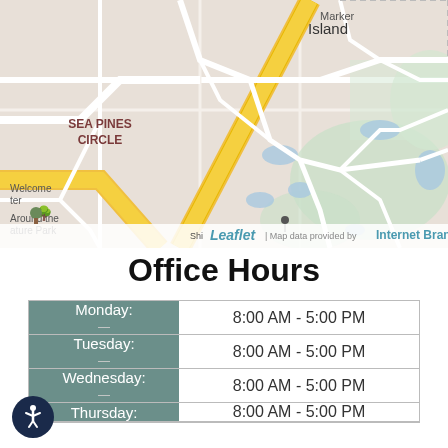[Figure (map): Street map showing Sea Pines Circle area with Marker Island, yellow roads, green areas, and blue water features. Attribution: Leaflet | Map data provided by Internet Brands]
Office Hours
| Day | Hours |
| --- | --- |
| Monday: | 8:00 AM - 5:00 PM |
| Tuesday: | 8:00 AM - 5:00 PM |
| Wednesday: | 8:00 AM - 5:00 PM |
| Thursday: | 8:00 AM - 5:00 PM |